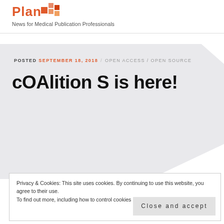Plan — News for Medical Publication Professionals
[Figure (photo): Stacked blue-tinted magazines/journals fanned open, top-right corner]
POSTED SEPTEMBER 18, 2018 / OPEN ACCESS / OPEN SOURCE
cOAlition S is here!
Privacy & Cookies: This site uses cookies. By continuing to use this website, you agree to their use. To find out more, including how to control cookies…   Close and accept